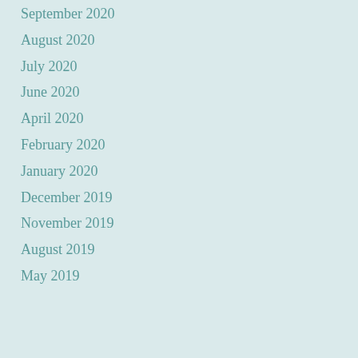September 2020
August 2020
July 2020
June 2020
April 2020
February 2020
January 2020
December 2019
November 2019
August 2019
May 2019